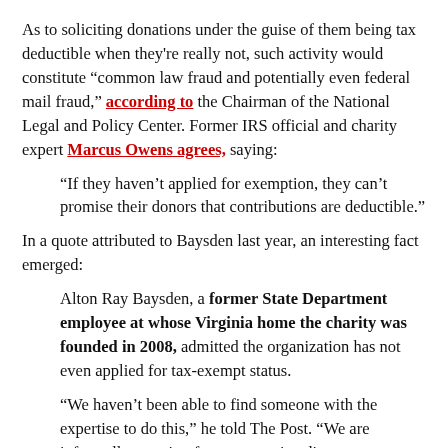As to soliciting donations under the guise of them being tax deductible when they're really not, such activity would constitute "common law fraud and potentially even federal mail fraud," according to the Chairman of the National Legal and Policy Center. Former IRS official and charity expert Marcus Owens agrees, saying:
"If they haven't applied for exemption, they can't promise their donors that contributions are deductible."
In a quote attributed to Baysden last year, an interesting fact emerged:
Alton Ray Baysden, a former State Department employee at whose Virginia home the charity was founded in 2008, admitted the organization has not even applied for tax-exempt status.
"We haven't been able to find someone with the expertise to do this," he told The Post. "We are informally scouting for an executive director, someone who knows how to register the charity."
Unfortunately for Baysden and Anderson, the BHOF wasn't just